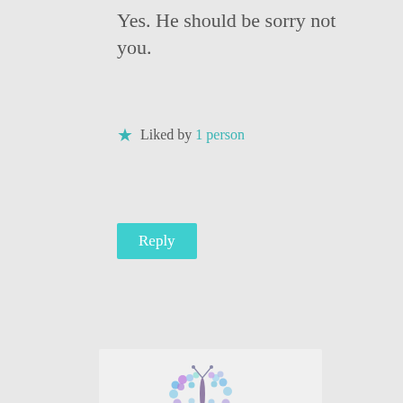Yes. He should be sorry not you.
Liked by 1 person
Reply
[Figure (illustration): Butterfly avatar image made of colorful dots/flowers in purple, blue, and pink tones]
Claudia says:
July 8, 2017 at 11:32 pm
❤